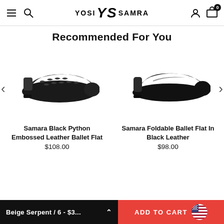YOSI YS SAMRA (navigation header with menu, search, account, cart icons)
Recommended For You
[Figure (photo): Black python embossed leather ballet flat shoe on white background]
[Figure (photo): Black leather foldable ballet flat shoe on white background]
Samara Black Python Embossed Leather Ballet Flat
$108.00
Samara Foldable Ballet Flat In Black Leather
$98.00
Beige Serpent / 6 - $3... ∧
ADD TO CART